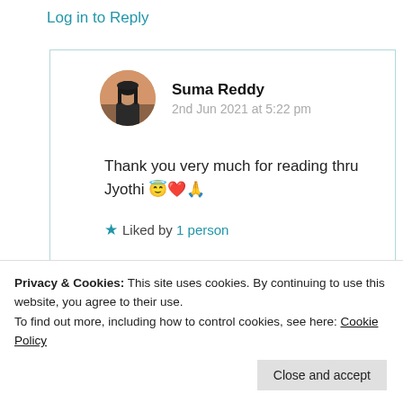Log in to Reply
[Figure (photo): Circular avatar photo of Suma Reddy, a woman with long dark hair]
Suma Reddy
2nd Jun 2021 at 5:22 pm
Thank you very much for reading thru Jyothi 😇❤️🙏
★ Liked by 1 person
Privacy & Cookies: This site uses cookies. By continuing to use this website, you agree to their use.
To find out more, including how to control cookies, see here: Cookie Policy
Close and accept